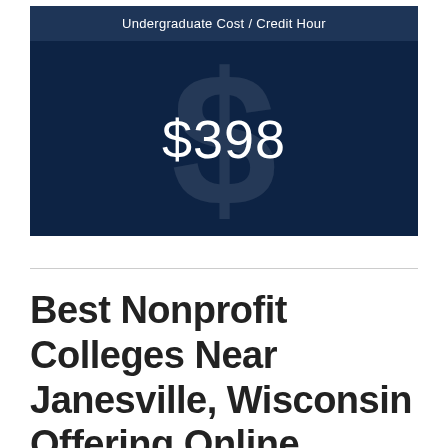Undergraduate Cost / Credit Hour
[Figure (infographic): Dark navy blue box displaying the undergraduate cost per credit hour of $398, with a large faded dollar sign watermark in the background.]
Best Nonprofit Colleges Near Janesville, Wisconsin Offering Online Marketing Degrees